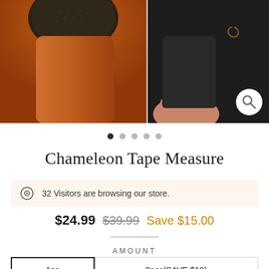[Figure (photo): Split product photo: left side shows a decorative tape measure with textured dark top on an orange/rust leather background; right side shows a hand holding the tape measure with dark fabric and gold embellishment visible.]
Chameleon Tape Measure
32 Visitors are browsing our store.
$24.99  $39.99  Save $15.00
AMOUNT
1pc   3pcs(SAVE $10)